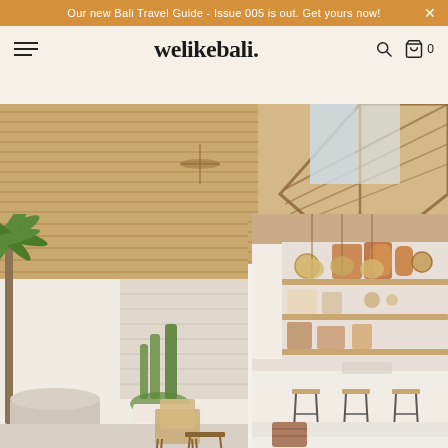Our new Bali Travel Guide - Issue 005 is out. Get yours now!
welikebali.
[Figure (photo): Collage of three Bali villa interior photos: top wide shot of thatched bamboo roof structure with triangular wooden framework; bottom left shows open-plan living area with tall palm tree in large concrete pot, cactus garden, thatched roof, and rattan chairs; bottom right shows modern Bali kitchen with open shelving displaying wooden boards and pottery, white marble island counter, and cream sofa with colorful cushion in foreground.]